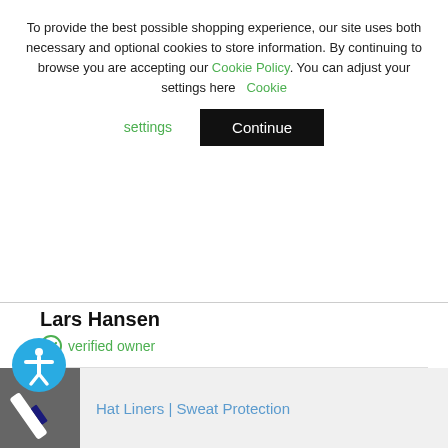To provide the best possible shopping experience, our site uses both necessary and optional cookies to store information. By continuing to browse you are accepting our Cookie Policy. You can adjust your settings here Cookie settings
Continue
Lars Hansen
verified owner
[Figure (other): Five gold stars rating display showing 5/5]
Verified review – view original
1 month ago
Hat Liners | Sweat Protection